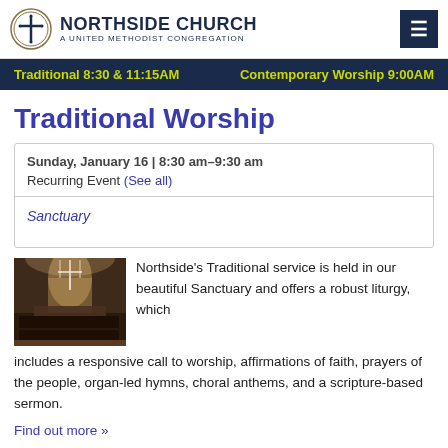Northside Church A United Methodist Congregation
Traditional 8:30 & 11:15AM   Contemporary Worship 9:00AM
Traditional Worship
Sunday, January 16 | 8:30 am–9:30 am
Recurring Event (See all)
Sanctuary
[Figure (photo): Interior of church sanctuary during worship service with choir and congregation]
Northside's Traditional service is held in our beautiful Sanctuary and offers a robust liturgy, which includes a responsive call to worship, affirmations of faith, prayers of the people, organ-led hymns, choral anthems, and a scripture-based sermon.
Find out more »